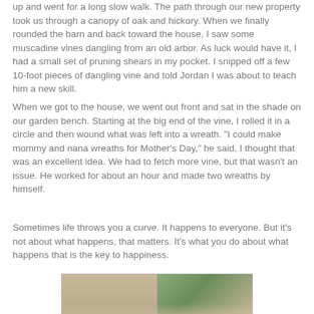up and went for a long slow walk. The path through our new property took us through a canopy of oak and hickory. When we finally rounded the barn and back toward the house, I saw some muscadine vines dangling from an old arbor. As luck would have it, I had a small set of pruning shears in my pocket. I snipped off a few 10-foot pieces of dangling vine and told Jordan I was about to teach him a new skill.
When we got to the house, we went out front and sat in the shade on our garden bench. Starting at the big end of the vine, I rolled it in a circle and then wound what was left into a wreath. "I could make mommy and nana wreaths for Mother's Day," he said. I thought that was an excellent idea. We had to fetch more vine, but that wasn't an issue. He worked for about an hour and made two wreaths by himself.
Sometimes life throws you a curve. It happens to everyone. But it's not about what happens, that matters. It's what you do about what happens that is the key to happiness.
[Figure (photo): A partially visible photograph showing what appears to be a child with wooden siding and foliage in the background]